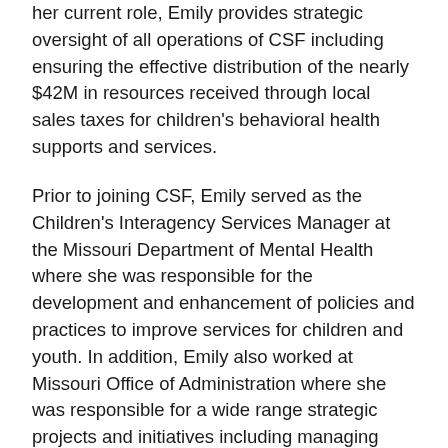her current role, Emily provides strategic oversight of all operations of CSF including ensuring the effective distribution of the nearly $42M in resources received through local sales taxes for children's behavioral health supports and services.
Prior to joining CSF, Emily served as the Children's Interagency Services Manager at the Missouri Department of Mental Health where she was responsible for the development and enhancement of policies and practices to improve services for children and youth. In addition, Emily also worked at Missouri Office of Administration where she was responsible for a wide range strategic projects and initiatives including managing statewide contracts, assisting in the development of the annual budget and operational goals of the department, coordinating research and analysis, assisting with federal reporting on behalf of the state's executive departments and leading the state's 2019 Census marketing and outreach campaign